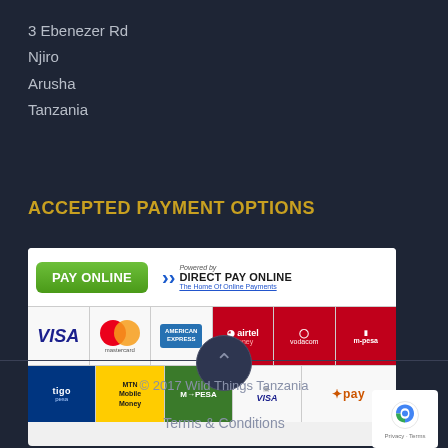3 Ebenezer Rd
Njiro
Arusha
Tanzania
ACCEPTED PAYMENT OPTIONS
[Figure (infographic): Pay Online banner with Direct Pay Online logo and accepted payment method logos: VISA, Mastercard, American Express, Airtel Money, Vodacom, M-Pesa (top row); tigo pesa, MTN Mobile Money, M-PESA, VISA (mobile), xpay (bottom row)]
© 2017 Wild Things Tanzania
Terms & Conditions